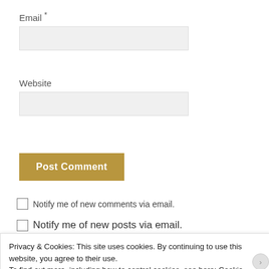Email *
Website
Post Comment
Notify me of new comments via email.
Notify me of new posts via email.
SUBSCRIBE VIA EMAIL
Privacy & Cookies: This site uses cookies. By continuing to use this website, you agree to their use. To find out more, including how to control cookies, see here: Cookie Policy
Close and accept